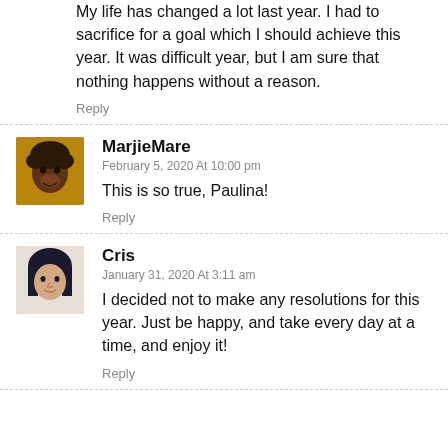My life has changed a lot last year. I had to sacrifice for a goal which I should achieve this year. It was difficult year, but I am sure that nothing happens without a reason.
Reply
MarjieMare
February 5, 2020 At 10:00 pm
This is so true, Paulina!
Reply
Cris
January 31, 2020 At 3:11 am
I decided not to make any resolutions for this year. Just be happy, and take every day at a time, and enjoy it!
Reply